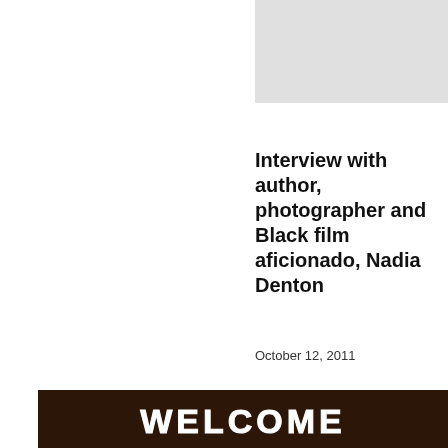[Figure (photo): Light gray placeholder image box in the upper right area of the page]
Interview with author, photographer and Black film aficionado, Nadia Denton
October 12, 2011
[Figure (photo): Dark photograph showing a 'WELCOME' sign in white text against a dark background with what appears to be a lattice or woven structure.]